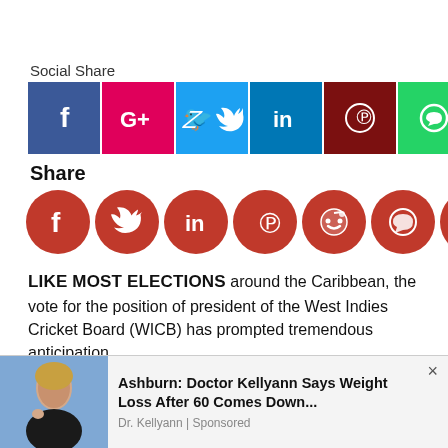Social Share
[Figure (infographic): Social share icon row with Facebook (blue), Google+ (pink), Twitter (cyan), LinkedIn (dark blue), Pinterest (dark red), WhatsApp (green), Reddit (orange-red), Buffer (black) square buttons]
Share
[Figure (infographic): Row of 7 red circular social share icons: Facebook, Twitter, LinkedIn, Pinterest, Reddit, WhatsApp, share/email]
LIKE MOST ELECTIONS around the Caribbean, the vote for the position of president of the West Indies Cricket Board (WICB) has prompted tremendous anticipation.
In the build-up to next Saturday’s annual general meeting in Jamaica, there has been intense lobbying in connection with that contest, in which the incumbent Dave Cameron is facing a challenge from Barbados Cricket Association (BCA) president Joel C...
[Figure (infographic): Advertisement overlay: photo of a woman with blonde hair, ad text 'Ashburn: Doctor Kellyann Says Weight Loss After 60 Comes Down...' by Dr. Kellyann | Sponsored, with close X button]